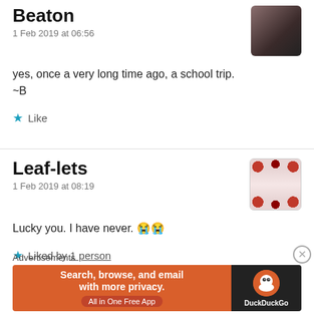Beaton
1 Feb 2019 at 06:56
yes, once a very long time ago, a school trip.
~B
★ Like
Leaf-lets
1 Feb 2019 at 08:19
Lucky you. I have never. 😭😭
★ Liked by 1 person
Advertisements
[Figure (screenshot): DuckDuckGo advertisement banner: orange left section with text 'Search, browse, and email with more privacy. All in One Free App', dark right section with DuckDuckGo logo and name.]